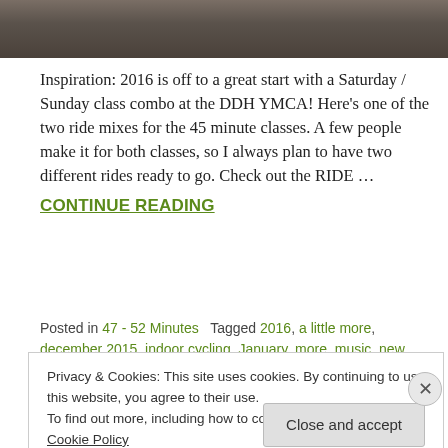[Figure (photo): Top portion of an image showing a textured dark surface, cropped at top of page]
Inspiration: 2016 is off to a great start with a Saturday / Sunday class combo at the DDH YMCA! Here's one of the two ride mixes for the 45 minute classes. A few people make it for both classes, so I always plan to have two different rides ready to go. Check out the RIDE …
CONTINUE READING
Posted in 47 - 52 Minutes   Tagged 2016, a little more, december 2015, indoor cycling, January, more, music, new year, playlist, ride more, ride profile, spinning, spotify, studio
Privacy & Cookies: This site uses cookies. By continuing to use this website, you agree to their use.
To find out more, including how to control cookies, see here: Cookie Policy